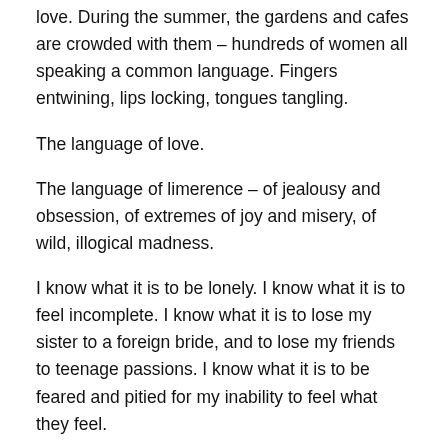love. During the summer, the gardens and cafes are crowded with them – hundreds of women all speaking a common language. Fingers entwining, lips locking, tongues tangling.
The language of love.
The language of limerence – of jealousy and obsession, of extremes of joy and misery, of wild, illogical madness.
I know what it is to be lonely. I know what it is to feel incomplete. I know what it is to lose my sister to a foreign bride, and to lose my friends to teenage passions. I know what it is to be feared and pitied for my inability to feel what they feel.
I was one of 'those girls'. Girls who cannot love. 'Cold hearted,' they whispered. 'Ice queen,' they hissed.